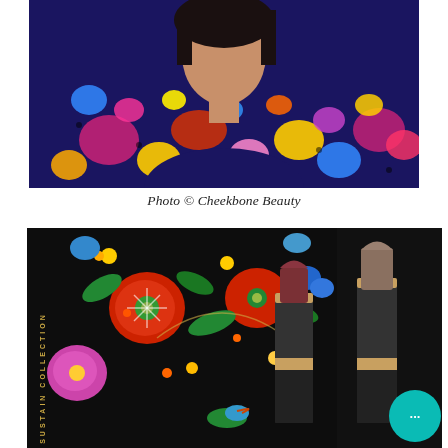[Figure (photo): Person wearing a colorful floral patterned top, photo cropped at chest/neck level showing dark hair, against a photo background]
Photo © Cheekbone Beauty
[Figure (photo): Cheekbone Beauty SUSTAIN COLLECTION lipstick product box with colorful floral Indigenous art design on black background, alongside two lipstick bullets in dark mauve and taupe shades with gold packaging, and a teal chat bubble icon in the corner]